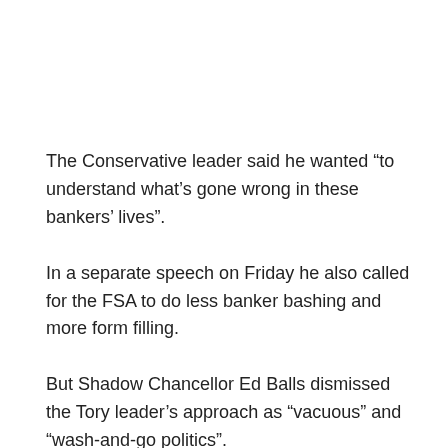The Conservative leader said he wanted “to understand what’s gone wrong in these bankers’ lives”.
In a separate speech on Friday he also called for the FSA to do less banker bashing and more form filling.
But Shadow Chancellor Ed Balls dismissed the Tory leader’s approach as “vacuous” and “wash-and-go politics”.
“Bankers are people too”
In a speech on how bankers actually benefit society, Mr Cameron